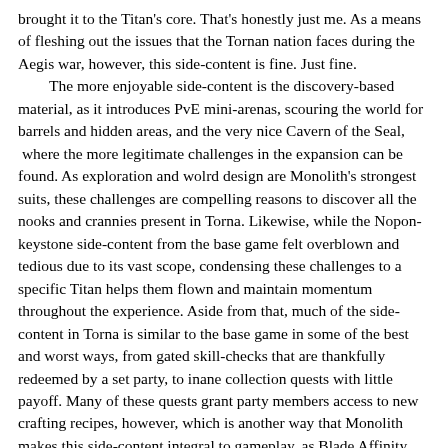brought it to the Titan's core. That's honestly just me. As a means of fleshing out the issues that the Tornan nation faces during the Aegis war, however, this side-content is fine. Just fine.
  The more enjoyable side-content is the discovery-based material, as it introduces PvE mini-arenas, scouring the world for barrels and hidden areas, and the very nice Cavern of the Seal,  where the more legitimate challenges in the expansion can be found. As exploration and wolrd design are Monolith's strongest suits, these challenges are compelling reasons to discover all the nooks and crannies present in Torna. Likewise, while the Nopon-keystone side-content from the base game felt overblown and tedious due to its vast scope, condensing these challenges to a specific Titan helps them flown and maintain momentum throughout the experience. Aside from that, much of the side-content in Torna is similar to the base game in some of the best and worst ways, from gated skill-checks that are thankfully redeemed by a set party, to inane collection quests with little payoff. Many of these quests grant party members access to new crafting recipes, however, which is another way that Monolith makes this side-content integral to gameplay, as Blade Affinity Charts often require the player to craft every single one of their recipes. It pads the run time, essentially, so make of that what you will.
Part F: “All that chatter will get you killed!” (Final Impressions)
Perhaps, after three hundred hours of XC2, I have finally reached